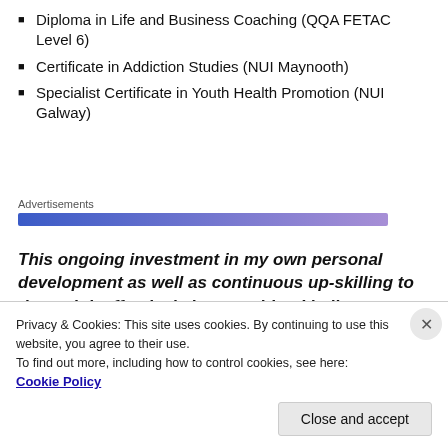Diploma in Life and Business Coaching (QQA FETAC Level 6)
Certificate in Addiction Studies (NUI Maynooth)
Specialist Certificate in Youth Health Promotion (NUI Galway)
Advertisements
This ongoing investment in my own personal development as well as continuous up-skilling to do my job effectively is something I believe
Privacy & Cookies: This site uses cookies. By continuing to use this website, you agree to their use.
To find out more, including how to control cookies, see here:
Cookie Policy
Close and accept